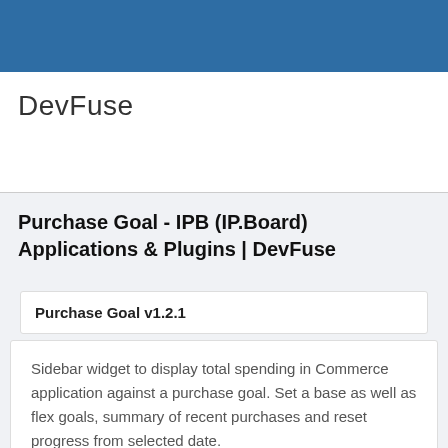DevFuse
Purchase Goal - IPB (IP.Board) Applications & Plugins | DevFuse
Purchase Goal v1.2.1
Sidebar widget to display total spending in Commerce application against a purchase goal. Set a base as well as flex goals, summary of recent purchases and reset progress from selected date.
Features